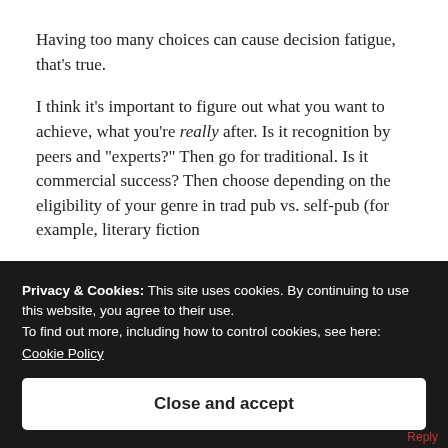Having too many choices can cause decision fatigue, that's true.
I think it's important to figure out what you want to achieve, what you're really after. Is it recognition by peers and "experts?" Then go for traditional. Is it commercial success? Then choose depending on the eligibility of your genre in trad pub vs. self-pub (for example, literary fiction
Privacy & Cookies: This site uses cookies. By continuing to use this website, you agree to their use.
To find out more, including how to control cookies, see here:
Cookie Policy
Close and accept
Reply